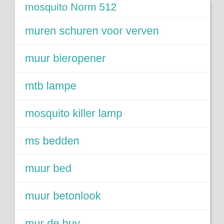muren schuren voor verven
muur bieropener
mtb lampe
mosquito killer lamp
ms bedden
muur bed
muur betonlook
mur de huy
muren stucen kosten
motorblok tafel